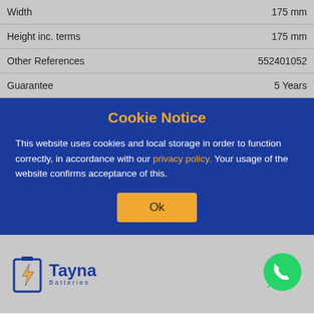| Width | 175 mm |
| Height inc. terms | 175 mm |
| Other References | 552401052 |
| Guarantee | 5 Years |
Cookie Notice
This website uses cookies and local storage in order to function correctly, in accordance with our privacy policy. Your usage of the website confirms acceptance of this.
[Figure (logo): Tayna Batteries logo with lightning bolt battery icon]
[Figure (logo): WhatsApp green phone icon bubble]